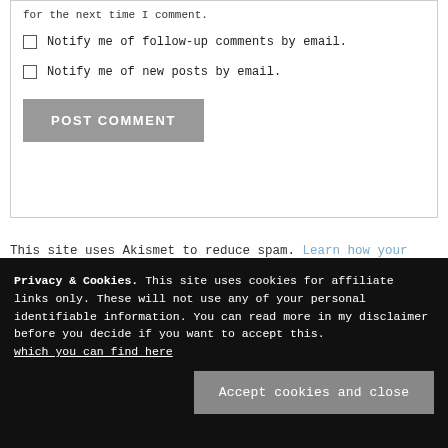for the next time I comment.
Notify me of follow-up comments by email.
Notify me of new posts by email.
POST COMMENT
This site uses Akismet to reduce spam. Learn how your comment data is processed.
Privacy & Cookies. This site uses cookies for affiliate links only. These will not use any of your personal identifiable information. You can read more in my disclaimer before you decide if you want to accept this. which you can find here
Accept cookies and close